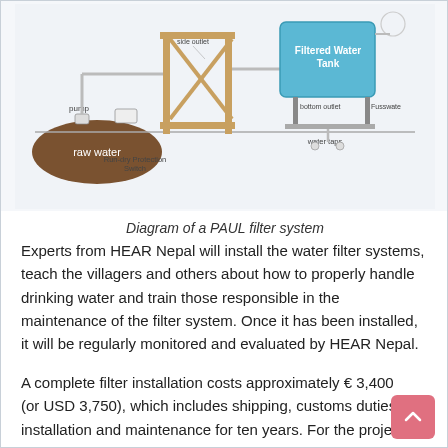[Figure (schematic): Diagram of a PAUL filter system showing raw water source, pump, Run-dry Protection Switch, side outlet, bottom outlet, Filtered Water Tank, Fusswate, water taps]
Diagram of a PAUL filter system
Experts from HEAR Nepal will install the water filter systems, teach the villagers and others about how to properly handle drinking water and train those responsible in the maintenance of the filter system. Once it has been installed, it will be regularly monitored and evaluated by HEAR Nepal.
A complete filter installation costs approximately € 3,400 (or USD 3,750), which includes shipping, customs duties, installation and maintenance for ten years. For the project to become sustainable, the filter systems will only be installed once the local authorities and the villagers ave agreed on small monthly contributions to ensure funding